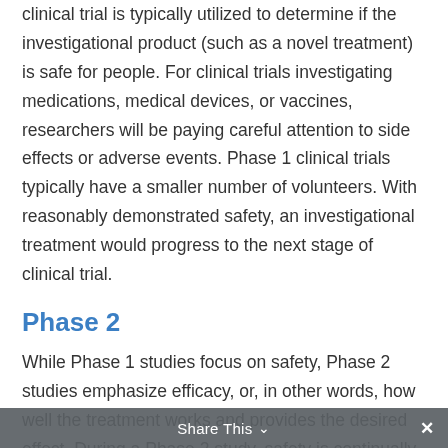clinical trial is typically utilized to determine if the investigational product (such as a novel treatment) is safe for people. For clinical trials investigating medications, medical devices, or vaccines, researchers will be paying careful attention to side effects or adverse events. Phase 1 clinical trials typically have a smaller number of volunteers. With reasonably demonstrated safety, an investigational treatment would progress to the next stage of clinical trial.
Phase 2
While Phase 1 studies focus on safety, Phase 2 studies emphasize efficacy, or, in other words, how well the treatment works and provides the desired effect. During a Phase 2 study, safety is continually monitored while the treatment is tested in a larger
Share This ∨ ✕